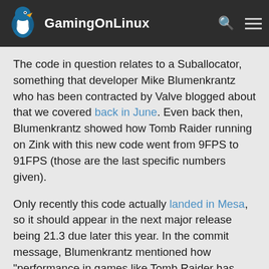GamingOnLinux
The code in question relates to a Suballocator, something that developer Mike Blumenkrantz who has been contracted by Valve blogged about that we covered back in June. Even back then, Blumenkrantz showed how Tomb Raider running on Zink with this new code went from 9FPS to 91FPS (those are the last specific numbers given).
Only recently this code actually landed in Mesa, so it should appear in the next major release being 21.3 due later this year. In the commit message, Blumenkrantz mentioned how "performance in games like Tomb Raider has been observed to increase by over 1000%".
Keep in mind this is not an increase compared with running the game normally, but between the original